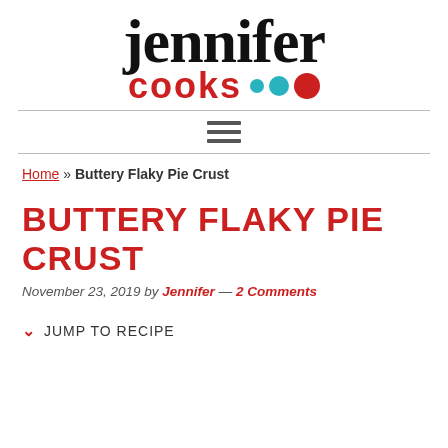[Figure (logo): Jennifer Cooks logo — 'jennifer' in large black script font, 'cooks' in red bold sans-serif, followed by decorative dots in teal and red]
Home » Buttery Flaky Pie Crust
BUTTERY FLAKY PIE CRUST
November 23, 2019 by Jennifer — 2 Comments
JUMP TO RECIPE